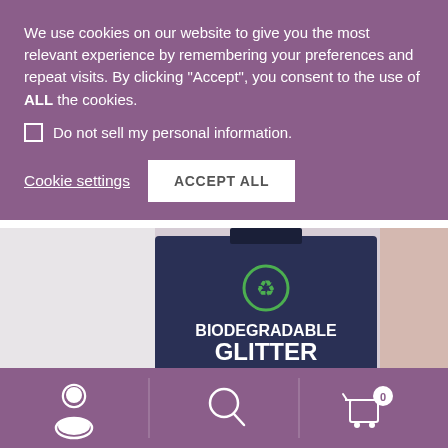We use cookies on our website to give you the most relevant experience by remembering your preferences and repeat visits. By clicking “Accept”, you consent to the use of ALL the cookies.
Do not sell my personal information.
Cookie settings
ACCEPT ALL
[Figure (photo): Product photo of Biodegradable Glitter in Penny Copper variety. Dark navy blue box with green recycling logo and text BIODEGRADABLE GLITTER with orange PENNY COPPER label.]
Biodegradable Glitter – Penny Copper
€4.45
[Figure (infographic): Bottom navigation bar with user/account icon, search icon, and shopping cart icon with badge showing 0]